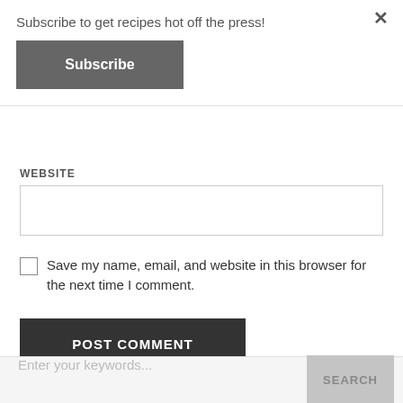Subscribe to get recipes hot off the press!
Subscribe
×
WEBSITE
Save my name, email, and website in this browser for the next time I comment.
POST COMMENT
Enter your keywords...
SEARCH